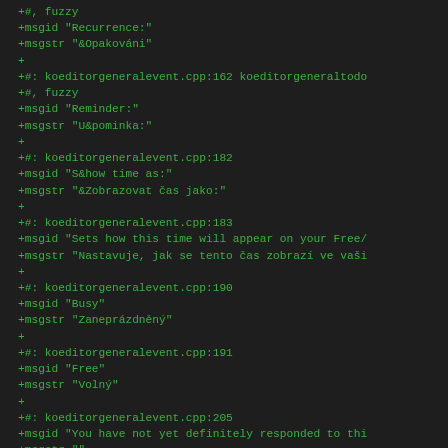+#, fuzzy
+msgid "Recurrence:"
+msgstr "&Opakováni"
+
+#: koeditorgeneralevent.cpp:162 koeditorgeneraltodo
+#, fuzzy
+msgid "Reminder:"
+msgstr "U&pominka:"
+
+#: koeditorgeneralevent.cpp:182
+msgid "S&how time as:"
+msgstr "&Zobrazovat čas jako:"
+
+#: koeditorgeneralevent.cpp:183
+msgid "Sets how this time will appear on your Free/
+msgstr "Nastavuje, jak se tento čas zobrazí ve vaši
+
+#: koeditorgeneralevent.cpp:190
+msgid "Busy"
+msgstr "Zaneprázdněný"
+
+#: koeditorgeneralevent.cpp:191
+msgid "Free"
+msgstr "Volný"
+
+#: koeditorgeneralevent.cpp:205
+msgid "You have not yet definitely responded to thi
+msgstr ""
+
+#: koeditorgeneralevent.cpp:434 koeditorgeneraleven
+#: printing/calprintdefaultplugins.cpp:155